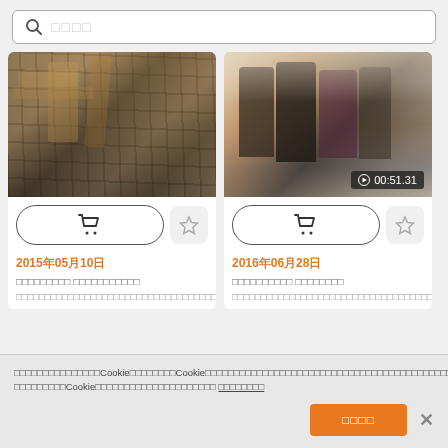[Figure (screenshot): Search bar with magnifying glass icon and placeholder text in Japanese characters]
[Figure (photo): Construction workers on scaffolding]
[Figure (photo): Three men in suits standing together, video thumbnail with duration badge 00:51.31]
2015年05月10日
2016年06月28日
■■■■■■■■■ ■■■■■■■■■■■
■■■■■■■■■■ ■■■■■■■■
■■■■■■■■■■■■■■■■■■■■■■■■■■■■■■■■■■■■■■■■■■■
■■■■■■■■■■■■■■■■■■■■■■■■■■■■■■■■■■■■■■■■■■■■■■■■■■■■■■■■■■■■■■■■■■■■■■■■■■■■■■■■■■■■■■
■■■■■■■■■■■■■■■Cookie■■■■■■■■Cookie■■■■■■■■■■■■■■■■■■■■■■■■■■■■■■■■■■■■■■■■■■■■■■■■■■■■■■■■Cookie■■■■■■■■■■■■■■■■■■■■■ ■■■■■■■■
■■■■■■■■